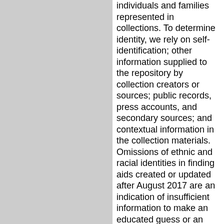individuals and families represented in collections. To determine identity, we rely on self-identification; other information supplied to the repository by collection creators or sources; public records, press accounts, and secondary sources; and contextual information in the collection materials. Omissions of ethnic and racial identities in finding aids created or updated after August 2017 are an indication of insufficient information to make an educated guess or an individual's preference for identity information to be